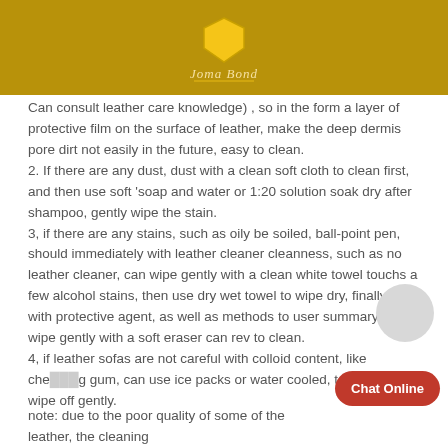Joma Bond logo
Can consult leather care knowledge) , so in the form a layer of protective film on the surface of leather, make the deep dermis pore dirt not easily in the future, easy to clean.
2. If there are any dust, dust with a clean soft cloth to clean first, and then use soft 'soap and water or 1:20 solution soak dry after shampoo, gently wipe the stain.
3, if there are any stains, such as oily be soiled, ball-point pen, should immediately with leather cleaner cleanness, such as no leather cleaner, can wipe gently with a clean white towel touchs a few alcohol stains, then use dry wet towel to wipe dry, finally care with protective agent, as well as methods to user summary, can wipe gently with a soft eraser can rev to clean.
4, if leather sofas are not careful with colloid content, like chewing gum, can use ice packs or water cooled, take fir... wipe off gently.
note: due to the poor quality of some of the leather, the cleaning